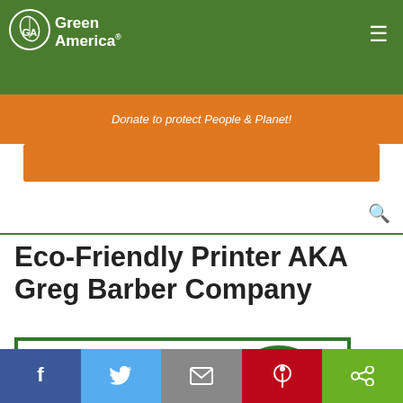Green America
Donate to protect People & Planet!
Eco-Friendly Printer AKA Greg Barber Company
[Figure (logo): ECO logo with green leaf emblem]
Social sharing bar: Facebook, Twitter, Email, Pinterest, Share